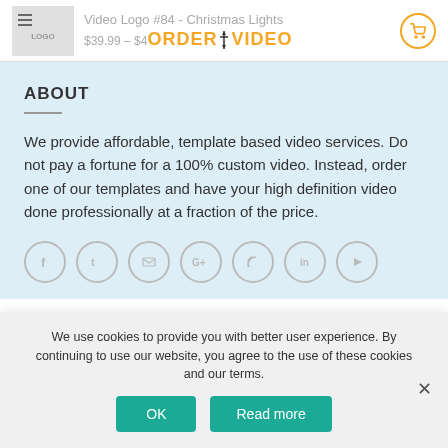Video Logo #84 - Christmas Lights | ORDER YOUR VIDEO | $39.99 – $4…
ABOUT
We provide affordable, template based video services. Do not pay a fortune for a 100% custom video. Instead, order one of our templates and have your high definition video done professionally at a fraction of the price.
[Figure (other): Social media icons row: Facebook, Twitter, Email, Google+, RSS, LinkedIn, YouTube - all in light grey circle outlines]
We use cookies to provide you with better user experience. By continuing to use our website, you agree to the use of these cookies and our terms.